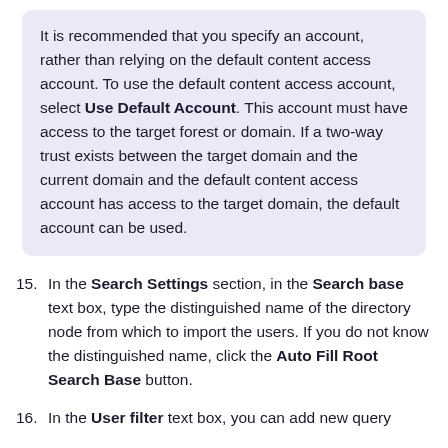It is recommended that you specify an account, rather than relying on the default content access account. To use the default content access account, select Use Default Account. This account must have access to the target forest or domain. If a two-way trust exists between the target domain and the current domain and the default content access account has access to the target domain, the default account can be used.
15. In the Search Settings section, in the Search base text box, type the distinguished name of the directory node from which to import the users. If you do not know the distinguished name, click the Auto Fill Root Search Base button.
16. In the User filter text box, you can add new query